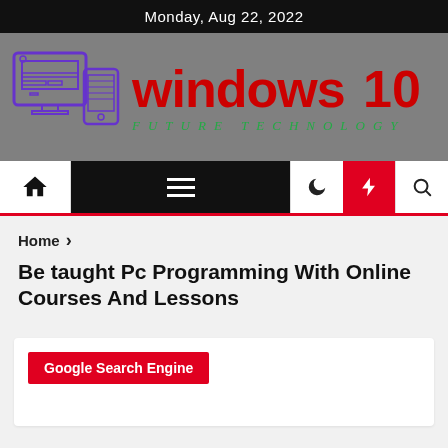Monday, Aug 22, 2022
[Figure (logo): Windows 10 Future Technology logo with blue computer and phone icon on grey background, red 'windows 10' text and green 'Future Technology' subtitle]
[Figure (screenshot): Navigation bar with home icon, hamburger menu (black), moon icon, red lightning bolt icon, and search icon]
Home >
Be taught Pc Programming With Online Courses And Lessons
Google Search Engine